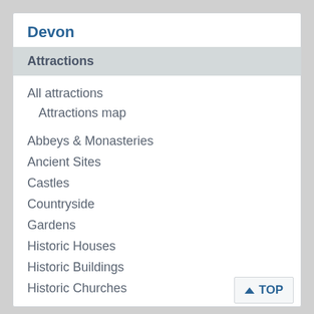Devon
Attractions
All attractions
Attractions map
Abbeys & Monasteries
Ancient Sites
Castles
Countryside
Gardens
Historic Houses
Historic Buildings
Historic Churches